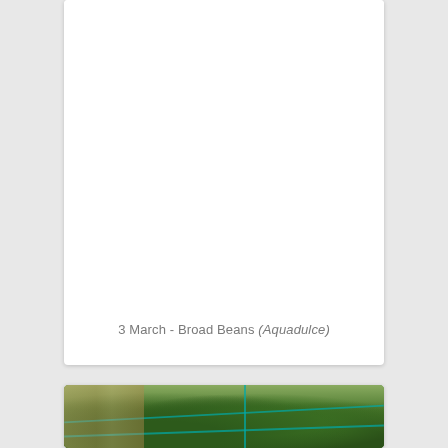[Figure (photo): A white/blank rectangular photo card showing broad bean plants - top portion appears mostly white/blank]
3 March - Broad Beans (Aquadulce)
[Figure (photo): A photo of broad bean plants (Aquadulce variety) showing green leafy plants with trellis/support strings visible]